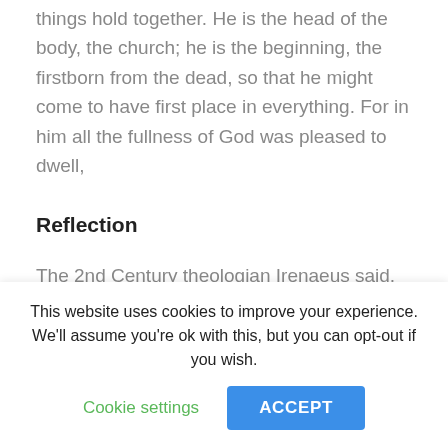things hold together. He is the head of the body, the church; he is the beginning, the firstborn from the dead, so that he might come to have first place in everything. For in him all the fullness of God was pleased to dwell,
Reflection
The 2nd Century theologian Irenaeus said, famously, something like 'The glory of God is a human being fully alive'. It's a great
This website uses cookies to improve your experience. We'll assume you're ok with this, but you can opt-out if you wish.